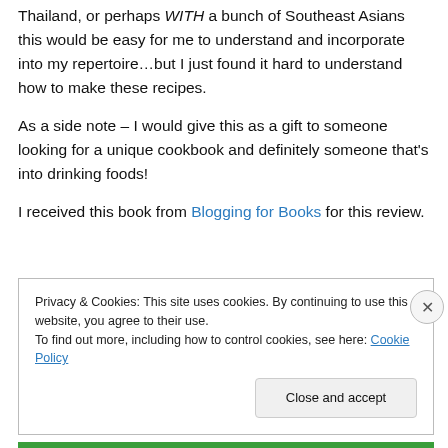Thailand, or perhaps WITH a bunch of Southeast Asians this would be easy for me to understand and incorporate into my repertoire…but I just found it hard to understand how to make these recipes.
As a side note – I would give this as a gift to someone looking for a unique cookbook and definitely someone that's into drinking foods!
I received this book from Blogging for Books for this review.
Privacy & Cookies: This site uses cookies. By continuing to use this website, you agree to their use. To find out more, including how to control cookies, see here: Cookie Policy